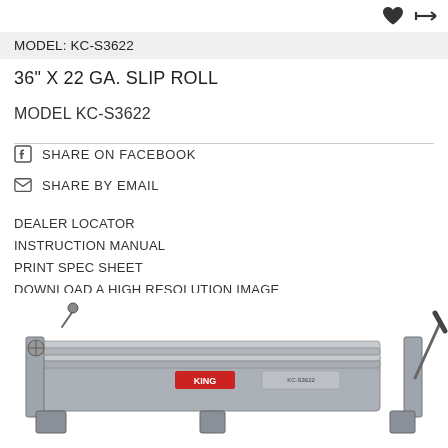MODEL: KC-S3622
36" X 22 GA. SLIP ROLL
MODEL KC-S3622
SHARE ON FACEBOOK
SHARE BY EMAIL
DEALER LOCATOR
INSTRUCTION MANUAL
PRINT SPEC SHEET
DOWNLOAD A HIGH RESOLUTION IMAGE
[Figure (photo): King industrial KC-S3622 36" x 22 gauge slip roll machine, grey colored, viewed from the front-left angle showing rollers and hand crank]